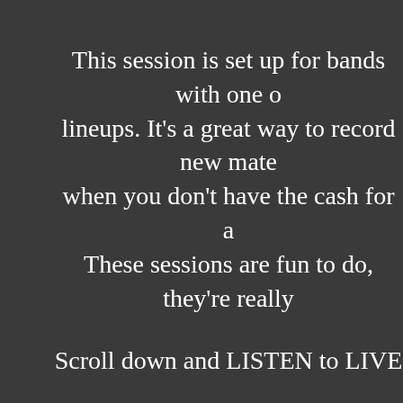This session is set up for bands with one of lineups. It's a great way to record new mate when you don't have the cash for a These sessions are fun to do, they're really
Scroll down and LISTEN to LIVE
Contact Fury about a LIVE 2
CONTACT
EMAIL Fur
3265 6th AVENUE, TROY, N